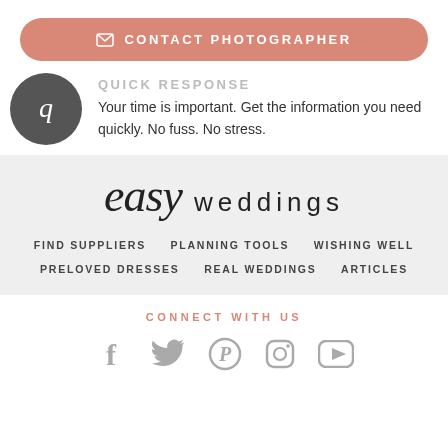CONTACT PHOTOGRAPHER
[Figure (illustration): Circular icon with quick response symbol]
QUICK RESPONSE
Your time is important. Get the information you need quickly. No fuss. No stress.
[Figure (logo): Easy Weddings logo with script 'easy' and serif 'weddings']
FIND SUPPLIERS
PLANNING TOOLS
WISHING WELL
PRELOVED DRESSES
REAL WEDDINGS
ARTICLES
CONNECT WITH US
[Figure (infographic): Social media icons: Facebook, Twitter, Pinterest, Instagram, YouTube]